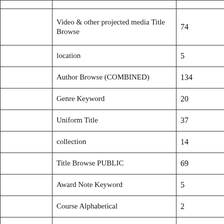|  |  |  |
| --- | --- | --- |
|  | Video & other projected media Title Browse | 74 |
|  | location | 5 |
|  | Author Browse (COMBINED) | 134 |
|  | Genre Keyword | 20 |
|  | Uniform Title | 37 |
|  | collection | 14 |
|  | Title Browse PUBLIC | 69 |
|  | Award Note Keyword | 5 |
|  | Course Alphabetical | 2 |
|  | Dewey Call Numbers | 2 |
|  | VHS Title Browse | 2 |
|  | Series Browse (includes Best Seller List) (COMBINED) | 1 |
|  | Publisher Keyword | 1 |